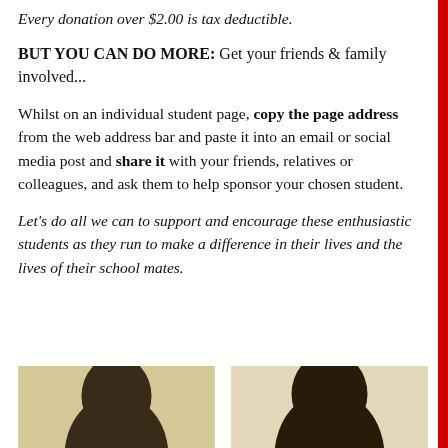Every donation over $2.00 is tax deductible.
BUT YOU CAN DO MORE: Get your friends & family involved...
Whilst on an individual student page, copy the page address from the web address bar and paste it into an email or social media post and share it with your friends, relatives or colleagues, and ask them to help sponsor your chosen student.
Let's do all we can to support and encourage these enthusiastic students as they run to make a difference in their lives and the lives of their school mates.
[Figure (photo): Photo of a student (left), head and shoulders portrait with short hair against light background]
[Figure (photo): Photo of a student (right), head and shoulders portrait with short hair against light background]